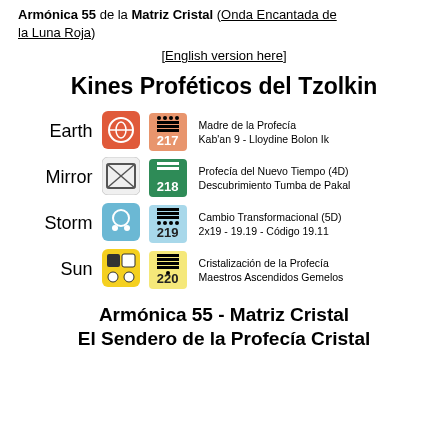Armónica 55 de la Matriz Cristal (Onda Encantada de la Luna Roja)
[English version here]
Kines Proféticos del Tzolkin
| Signo | Icono | Número | Descripción |
| --- | --- | --- | --- |
| Earth | Earth icon | 217 | Madre de la Profecía
Kab'an 9 - Lloydine Bolon Ik |
| Mirror | Mirror icon | 218 | Profecía del Nuevo Tiempo (4D)
Descubrimiento Tumba de Pakal |
| Storm | Storm icon | 219 | Cambio Transformacional (5D)
2x19 - 19.19 - Código 19.11 |
| Sun | Sun icon | 220 | Cristalización de la Profecía
Maestros Ascendidos Gemelos |
Armónica 55 - Matriz Cristal
El Sendero de la Profecía Cristal